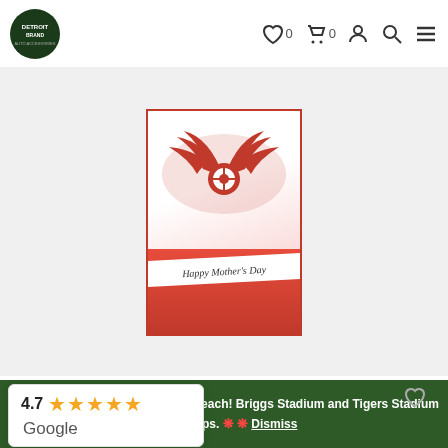Detroit Brand navigation bar with logo, wishlist (0), cart (0), account, search, menu icons
[Figure (photo): Detroit Red Wings Mother's Day Greeting Card product image showing the Red Wings winged wheel logo above a 'Happy Mother's Day' ribbon banner with red flowers]
Detroit Red Wings Mother's Day Greeting
[Figure (infographic): Google rating overlay showing 4.7 stars with 5 orange stars and Google logo]
$3
🔴 🔴 Stock up and save, only $10 each! Briggs Stadium and Tigers Stadium Fitted Caps. 🔴 🔴 Dismiss